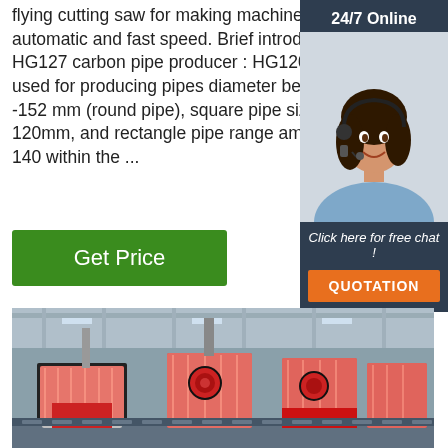flying cutting saw for making machine totally automatic and fast speed. Brief introduction of HG127 carbon pipe producer : HG120 is mainly used for producing pipes diameter between 50---152 mm (round pipe), square pipe size 40-120mm, and rectangle pipe range am 40 100—140 within the ...
[Figure (photo): Customer service representative with headset, 24/7 Online sidebar with quotation button]
[Figure (photo): Factory floor showing red industrial pipe making machines wrapped in plastic, inside a large warehouse]
Get Price
24/7 Online
Click here for free chat !
QUOTATION